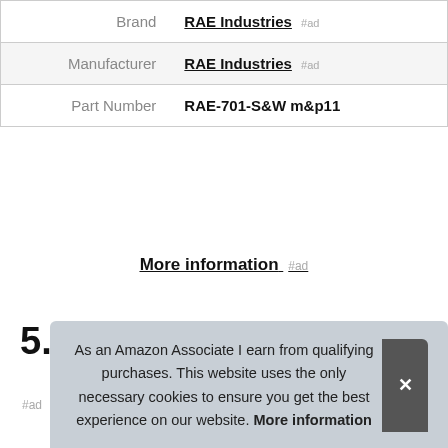| Brand | RAE Industries #ad |
| Manufacturer | RAE Industries #ad |
| Part Number | RAE-701-S&W m&p11 |
More information #ad
5. ETS
#ad
As an Amazon Associate I earn from qualifying purchases. This website uses the only necessary cookies to ensure you get the best experience on our website. More information